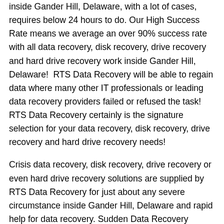inside Gander Hill, Delaware, with a lot of cases, requires below 24 hours to do. Our High Success Rate means we average an over 90% success rate with all data recovery, disk recovery, drive recovery and hard drive recovery work inside Gander Hill, Delaware!  RTS Data Recovery will be able to regain data where many other IT professionals or leading data recovery providers failed or refused the task!  RTS Data Recovery certainly is the signature selection for your data recovery, disk recovery, drive recovery and hard drive recovery needs!
Crisis data recovery, disk recovery, drive recovery or even hard drive recovery solutions are supplied by RTS Data Recovery for just about any severe circumstance inside Gander Hill, Delaware and rapid help for data recovery. Sudden Data Recovery Solutions can be found 24/7 via RTS Data Recovery! This means you can get our pro data recovery, disk recovery, drive recovery and hard drive recovery solutions once YOU need them inside Gander Hill, Delaware.